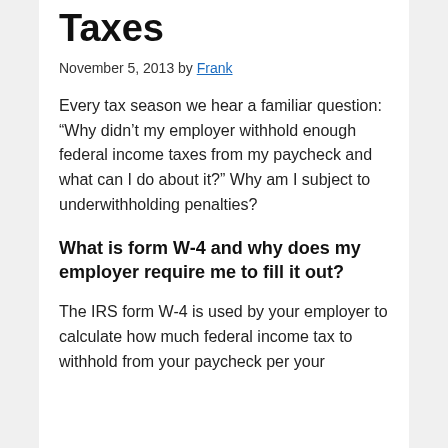Taxes
November 5, 2013 by Frank
Every tax season we hear a familiar question: “Why didn’t my employer withhold enough federal income taxes from my paycheck and what can I do about it?” Why am I subject to underwithholding penalties?
What is form W-4 and why does my employer require me to fill it out?
The IRS form W-4 is used by your employer to calculate how much federal income tax to withhold from your paycheck per your